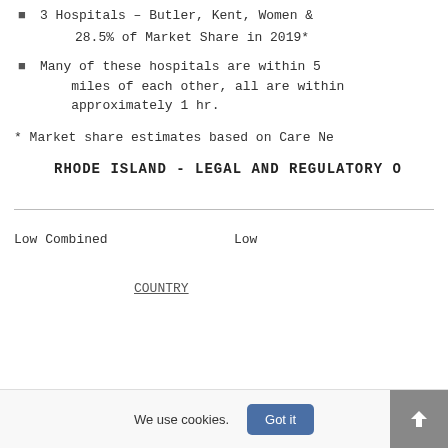3 Hospitals – Butler, Kent, Women &
28.5% of Market Share in 2019*
Many of these hospitals are within 5 miles of each other, all are within approximately 1 hr.
* Market share estimates based on Care Ne
RHODE ISLAND - LEGAL AND REGULATORY O
| Low Combined | Low |
| --- | --- |
COUNTRY